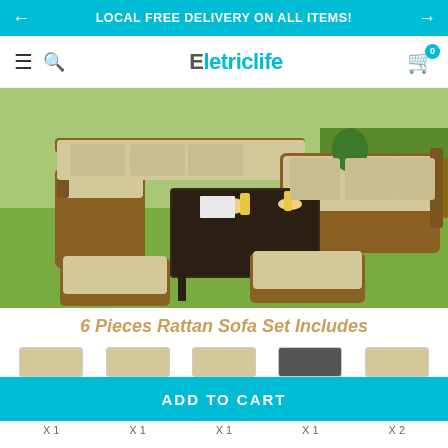LOCAL FREE DELIVERY ON ALL ITEMS!
[Figure (logo): Eletriclife website navigation bar with hamburger menu, search icon, Eletriclife logo in teal, and cart icon with badge showing 0]
[Figure (photo): Outdoor rattan sofa set on grass - L-shaped sectional sofa with beige cushions, a dark wicker dining table with glasses and pitcher, and two square ottomans with beige cushions]
6 Pieces Rattan Sofa Set Includes
[Figure (photo): Row of product component thumbnails showing individual pieces of the rattan sofa set - beige cushioned sofa sections, dark table, and ottoman pieces]
ADD TO CART
X 1  X 1  X 1  X 1  X 2